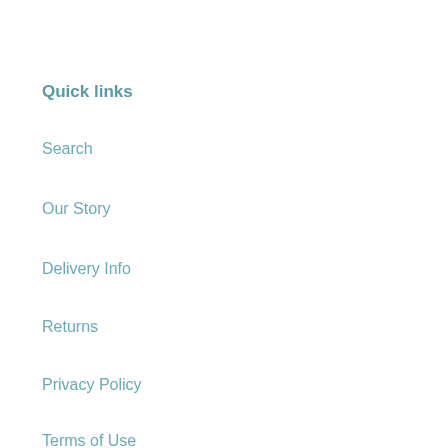Quick links
Search
Our Story
Delivery Info
Returns
Privacy Policy
Terms of Use